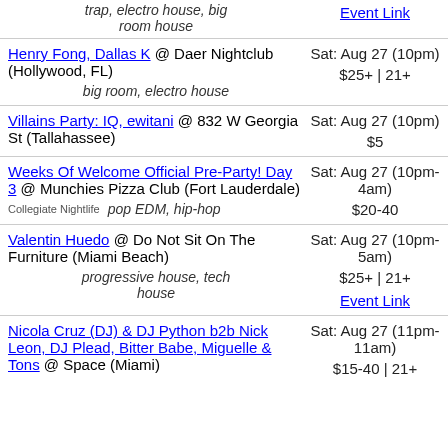trap, electro house, big room house | Event Link
Henry Fong, Dallas K @ Daer Nightclub (Hollywood, FL) | Sat: Aug 27 (10pm) | $25+ | 21+ | big room, electro house
Villains Party: IQ, ewitani @ 832 W Georgia St (Tallahassee) | Sat: Aug 27 (10pm) | $5
Weeks Of Welcome Official Pre-Party! Day 3 @ Munchies Pizza Club (Fort Lauderdale) | Sat: Aug 27 (10pm-4am) | $20-40 | Collegiate Nightlife | pop EDM, hip-hop
Valentin Huedo @ Do Not Sit On The Furniture (Miami Beach) | Sat: Aug 27 (10pm-5am) | $25+ | 21+ | progressive house, tech house | Event Link
Nicola Cruz (DJ) & DJ Python b2b Nick Leon, DJ Plead, Bitter Babe, Miguelle & Tons @ Space (Miami) | Sat: Aug 27 (11pm-11am) | $15-40 | 21+